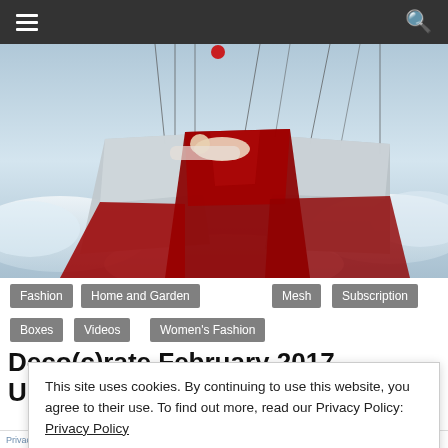☰  🔍
[Figure (photo): A surreal fashion photo of a person lying in a hammock-like structure made of red and silver/white draped fabric suspended by strings against a cloudy sky background.]
Fashion
Home and Garden
Mesh
Subscription Boxes
Videos
Women's Fashion
Deco(c)rate February 2017 Unboxing
This site uses cookies. By continuing to use this website, you agree to their use. To find out more, read our Privacy Policy: Privacy Policy
Close and accept
Privacy Policy, Contact, Advertise, Mesh, Home, Subscribe, About 501...